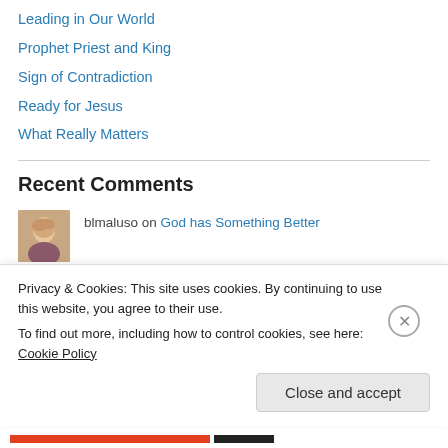Leading in Our World
Prophet Priest and King
Sign of Contradiction
Ready for Jesus
What Really Matters
Recent Comments
blmaluso on God has Something Better
blmaluso on Prayer for Wayward Politicians
Privacy & Cookies: This site uses cookies. By continuing to use this website, you agree to their use.
To find out more, including how to control cookies, see here: Cookie Policy